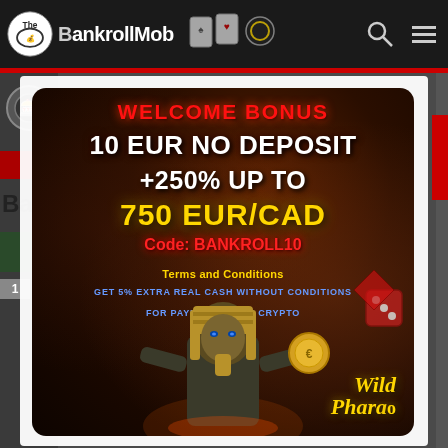The BankrollMob
[Figure (infographic): Casino promotional banner for Wild Pharao showing: WELCOME BONUS, 10 EUR NO DEPOSIT +250% UP TO 750 EUR/CAD, Code: BANKROLL10, Terms and Conditions, GET 5% EXTRA REAL CASH WITHOUT CONDITIONS FOR PAYMENTS WITH CRYPTO. Egyptian pharaoh character at the bottom with Wild Pharao logo/text.]